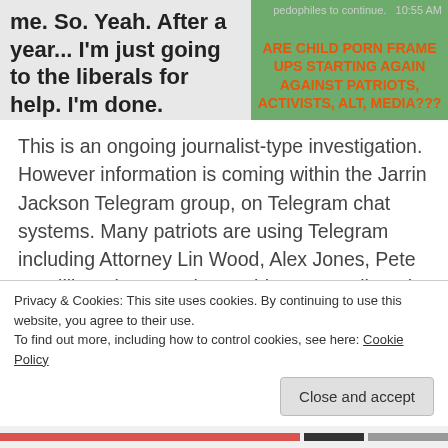[Figure (screenshot): Chat message screenshot showing left bubble with text 'me. So. Yeah. After a year... I'm just going to the liberals for help. I'm done.' at 10:34 AM, and right green bubble with text about pedophiles and orange text 'ARE CHILD PORN FRAME UPS STARTING AGAIN AGAINST PATRIOTS, ACTIVISTS, ALT, MEDIA???']
This is an ongoing journalist-type investigation. However information is coming within the Jarrin Jackson Telegram group, on Telegram chat systems. Many patriots are using Telegram including Attorney Lin Wood, Alex Jones, Pete Santilli, and many others. This person alleged that she was added as an admin to a "child porn" group. With hundreds to thousands of images of "child porn" as she had allegedly claimed. This matter is being investigated, watch for any further articles over this matter. Jarrin Jackson is a popular christian military vet. Doesn't hide the fact on
Privacy & Cookies: This site uses cookies. By continuing to use this website, you agree to their use.
To find out more, including how to control cookies, see here: Cookie Policy